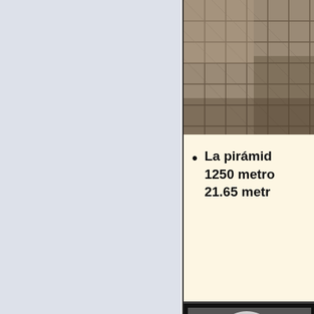[Figure (photo): Left panel with light blue-gray background, part of a presentation slide]
[Figure (photo): Aerial photograph of a pyramid (likely Egyptian) with stone surface visible, top-right of right panel]
La pirámide... 1250 metro... 21.65 metr...
[Figure (photo): Black and white portrait photograph of Albert Einstein, bottom of right panel]